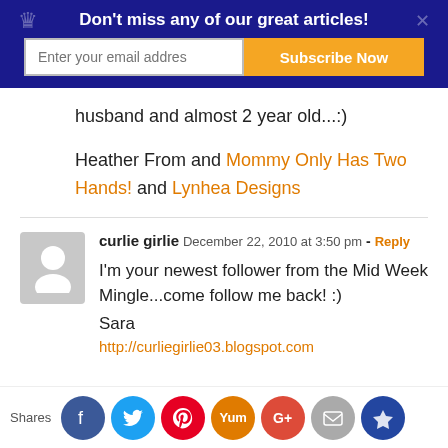Don't miss any of our great articles! [Subscribe banner with email input]
husband and almost 2 year old...:)
Heather From and Mommy Only Has Two Hands! and Lynhea Designs
curlie girlie  December 22, 2010 at 3:50 pm - Reply
I'm your newest follower from the Mid Week Mingle...come follow me back! :)
Sara
http://curliegirlie03.blogspot.com
Shares [Facebook, Twitter, Pinterest, Yummly, Google+, Email, Crown social share buttons]